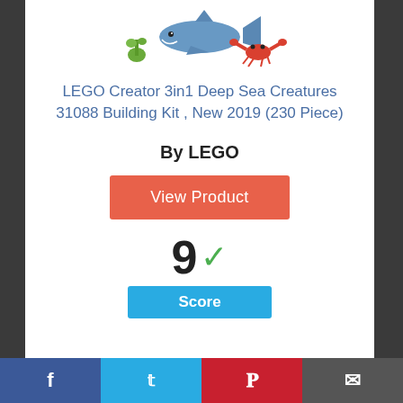[Figure (illustration): LEGO Creator 3in1 Deep Sea Creatures toy product image showing a shark, crab, and small sea creature]
LEGO Creator 3in1 Deep Sea Creatures 31088 Building Kit , New 2019 (230 Piece)
By LEGO
View Product
9 ✓ Score
[Figure (other): Partial circle with number 4 inside, showing a rating indicator]
Facebook | Twitter | Pinterest | Email